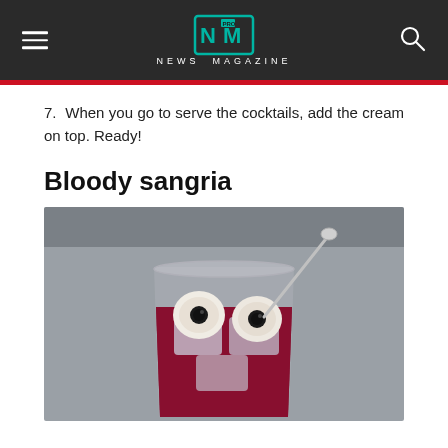NEWS MAGAZINE
7. When you go to serve the cocktails, add the cream on top. Ready!
Bloody sangria
[Figure (photo): A glass of dark red sangria with ice cubes, lychee eyeballs with blueberry pupils as Halloween garnish, and a silver spoon resting on the rim, photographed on a grey stone surface from above.]